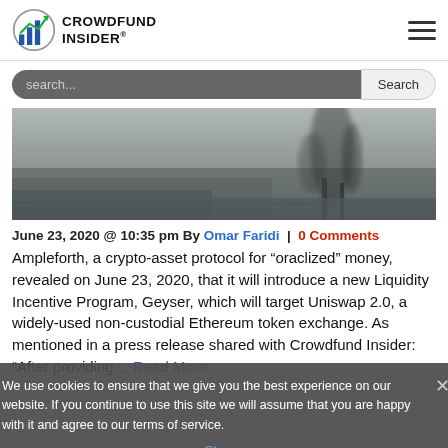CROWDFUND INSIDER
[Figure (screenshot): Search bar with dark grey background and Search button]
[Figure (photo): Blurry grey-toned landscape photo with trees and misty background]
June 23, 2020 @ 10:35 pm By Omar Faridi | 0 Comments
Ampleforth, a crypto-asset protocol for "oraclized" money, revealed on June 23, 2020, that it will introduce a new Liquidity Incentive Program, Geyser, which will target Uniswap 2.0, a widely-used non-custodial Ethereum token exchange. As mentioned in a press release shared with Crowdfund Insider: "After providing... Read More
We use cookies to ensure that we give you the best experience on our website. If you continue to use this site we will assume that you are happy with it and agree to our terms of service.
Ok